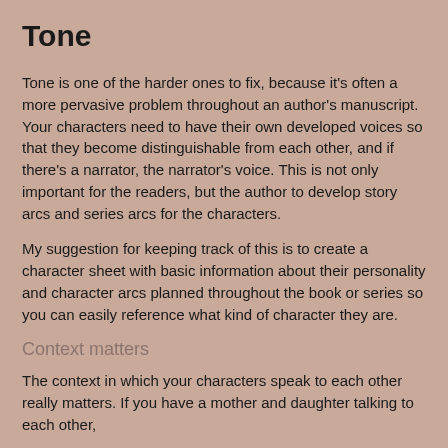Tone
Tone is one of the harder ones to fix, because it's often a more pervasive problem throughout an author's manuscript. Your characters need to have their own developed voices so that they become distinguishable from each other, and if there's a narrator, the narrator's voice. This is not only important for the readers, but the author to develop story arcs and series arcs for the characters.
My suggestion for keeping track of this is to create a character sheet with basic information about their personality and character arcs planned throughout the book or series so you can easily reference what kind of character they are.
Context matters
The context in which your characters speak to each other really matters. If you have a mother and daughter talking to each other,